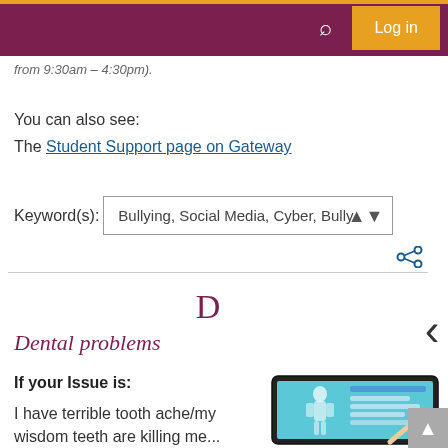Log in
from 9:30am – 4:30pm).
You can also see:
The Student Support page on Gateway
Keyword(s): Bullying, Social Media, Cyber, Bully
D
Dental problems
If your Issue is:
I have terrible tooth ache/my wisdom teeth are killing me...
[Figure (screenshot): Tablet device showing a medical information interface with a human body diagram and data panels]